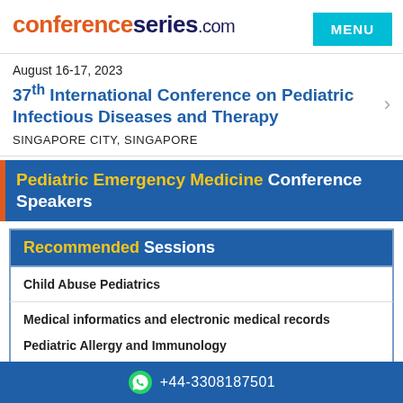conferenceseries.com
August 16-17, 2023
37th International Conference on Pediatric Infectious Diseases and Therapy
SINGAPORE CITY, SINGAPORE
Pediatric Emergency Medicine Conference Speakers
Recommended Sessions
Child Abuse Pediatrics
Medical informatics and electronic medical records
Pediatric Allergy and Immunology
+44-3308187501